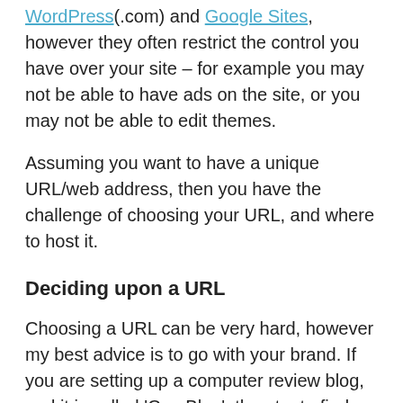WordPress(.com) and Google Sites, however they often restrict the control you have over your site – for example you may not be able to have ads on the site, or you may not be able to edit themes.
Assuming you want to have a unique URL/web address, then you have the challenge of choosing your URL, and where to host it.
Deciding upon a URL
Choosing a URL can be very hard, however my best advice is to go with your brand. If you are setting up a computer review blog, and it is called 'ComBlog', then try to find a URL with ComBlog in it.
Some people would say work out what keywords you want to show up in the search results for, and